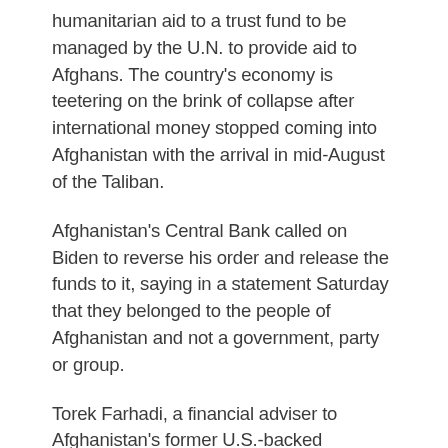humanitarian aid to a trust fund to be managed by the U.N. to provide aid to Afghans. The country's economy is teetering on the brink of collapse after international money stopped coming into Afghanistan with the arrival in mid-August of the Taliban.
Afghanistan's Central Bank called on Biden to reverse his order and release the funds to it, saying in a statement Saturday that they belonged to the people of Afghanistan and not a government, party or group.
Torek Farhadi, a financial adviser to Afghanistan's former U.S.-backed government, questioned the U.N. managing Afghan Central Bank